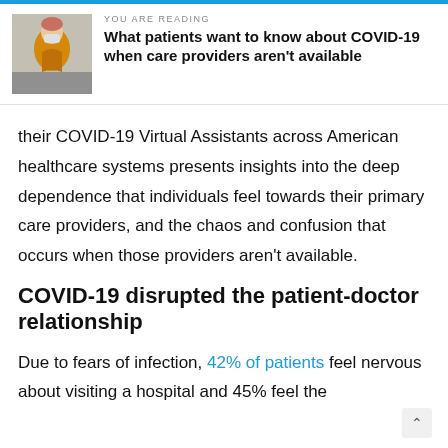YOU ARE READING
What patients want to know about COVID-19 when care providers aren't available
their COVID-19 Virtual Assistants across American healthcare systems presents insights into the deep dependence that individuals feel towards their primary care providers, and the chaos and confusion that occurs when those providers aren't available.
COVID-19 disrupted the patient-doctor relationship
Due to fears of infection, 42% of patients feel nervous about visiting a hospital and 45% feel the